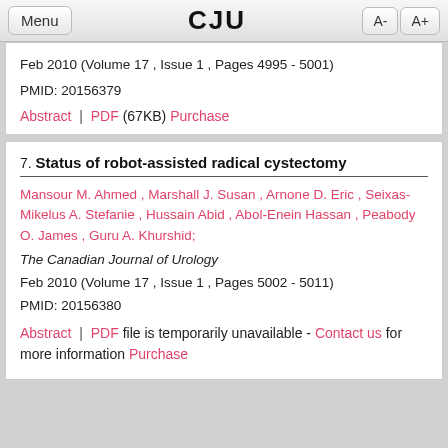Menu  CJU  A-  A+
Feb 2010 (Volume 17 , Issue 1 , Pages 4995 - 5001)
PMID: 20156379
Abstract | PDF (67KB) Purchase
7. Status of robot-assisted radical cystectomy
Mansour M. Ahmed , Marshall J. Susan , Arnone D. Eric , Seixas-Mikelus A. Stefanie , Hussain Abid , Abol-Enein Hassan , Peabody O. James , Guru A. Khurshid;
The Canadian Journal of Urology
Feb 2010 (Volume 17 , Issue 1 , Pages 5002 - 5011)
PMID: 20156380
Abstract | PDF file is temporarily unavailable - Contact us for more information Purchase